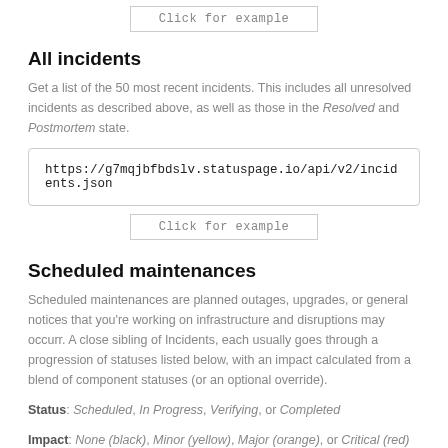[Figure (screenshot): Click for example button at the top of the page]
All incidents
Get a list of the 50 most recent incidents. This includes all unresolved incidents as described above, as well as those in the Resolved and Postmortem state.
https://g7mqjbfbdslv.statuspage.io/api/v2/incidents.json
[Figure (screenshot): Click for example button below the incidents URL]
Scheduled maintenances
Scheduled maintenances are planned outages, upgrades, or general notices that you're working on infrastructure and disruptions may occurr. A close sibling of Incidents, each usually goes through a progression of statuses listed below, with an impact calculated from a blend of component statuses (or an optional override).
Status: Scheduled, In Progress, Verifying, or Completed
Impact: None (black), Minor (yellow), Major (orange), or Critical (red)